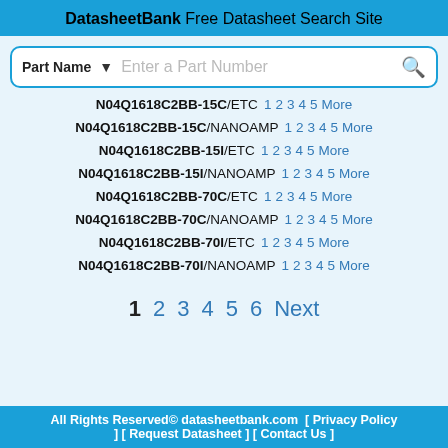DatasheetBank
Free Datasheet Search Site
N04Q1618C2BB-15C/ETC 1 2 3 4 5 More
N04Q1618C2BB-15C/NANOAMP 1 2 3 4 5 More
N04Q1618C2BB-15I/ETC 1 2 3 4 5 More
N04Q1618C2BB-15I/NANOAMP 1 2 3 4 5 More
N04Q1618C2BB-70C/ETC 1 2 3 4 5 More
N04Q1618C2BB-70C/NANOAMP 1 2 3 4 5 More
N04Q1618C2BB-70I/ETC 1 2 3 4 5 More
N04Q1618C2BB-70I/NANOAMP 1 2 3 4 5 More
1 2 3 4 5 6 Next
All Rights Reserved© datasheetbank.com [ Privacy Policy ] [ Request Datasheet ] [ Contact Us ]